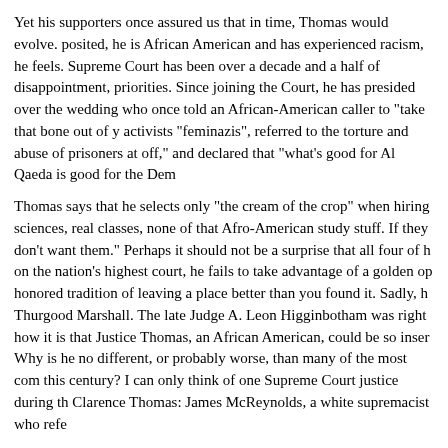Yet his supporters once assured us that in time, Thomas would evolve. posited, he is African American and has experienced racism, he feels. Supreme Court has been over a decade and a half of disappointment, priorities. Since joining the Court, he has presided over the wedding who once told an African-American caller to "take that bone out of y activists "feminazis", referred to the torture and abuse of prisoners at off," and declared that "what's good for Al Qaeda is good for the Dem
Thomas says that he selects only "the cream of the crop" when hiring sciences, real classes, none of that Afro-American study stuff. If they don't want them." Perhaps it should not be a surprise that all four of h on the nation's highest court, he fails to take advantage of a golden op honored tradition of leaving a place better than you found it. Sadly, h Thurgood Marshall. The late Judge A. Leon Higginbotham was right how it is that Justice Thomas, an African American, could be so inser Why is he no different, or probably worse, than many of the most com this century? I can only think of one Supreme Court justice during th Clarence Thomas: James McReynolds, a white supremacist who refe
Letter to Clarence Thomas
Dear Justice Thomas:
The purpose of this letter is to discuss with you the changes that are t in which these changes will harm black people. More specifically, I